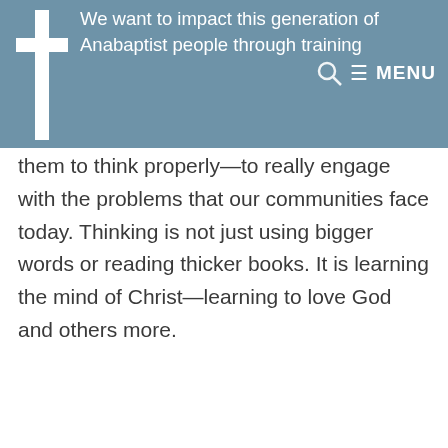We want to impact this generation of Anabaptist people through training
them to think properly—to really engage with the problems that our communities face today. Thinking is not just using bigger words or reading thicker books. It is learning the mind of Christ—learning to love God and others more.
Episodes